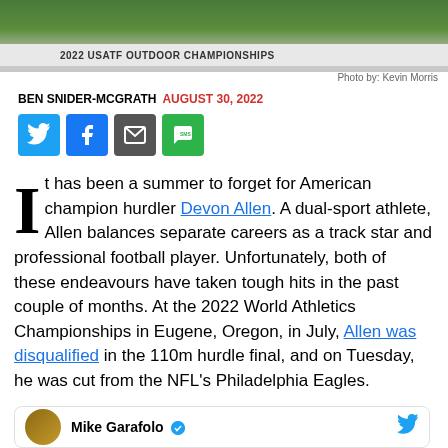[Figure (photo): Sports photo with green background showing athlete hurdling, with a gray USATF Outdoor Championships banner across the middle]
Photo by: Kevin Morris
BEN SNIDER-MCGRATH AUGUST 30, 2022
[Figure (infographic): Social sharing icons: Twitter (blue), Facebook (blue), Mail (gray), SMS (green)]
It has been a summer to forget for American champion hurdler Devon Allen. A dual-sport athlete, Allen balances separate careers as a track star and professional football player. Unfortunately, both of these endeavours have taken tough hits in the past couple of months. At the 2022 World Athletics Championships in Eugene, Oregon, in July, Allen was disqualified in the 110m hurdle final, and on Tuesday, he was cut from the NFL's Philadelphia Eagles.
Mike Garafolo